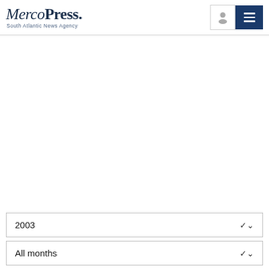MercoPress. South Atlantic News Agency
2003
All months